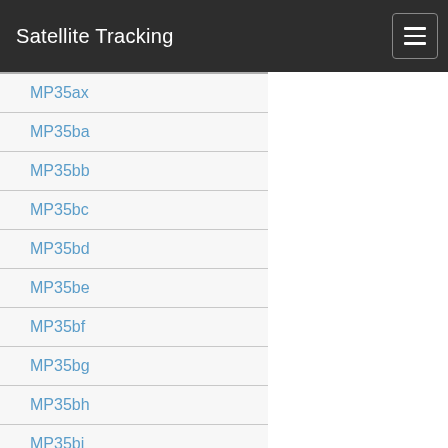Satellite Tracking
MP35ax
MP35ba
MP35bb
MP35bc
MP35bd
MP35be
MP35bf
MP35bg
MP35bh
MP35bi
MP35bj
MP35bk
MP35bl
MP35bm
MP35bn
MP35bo
MP35bp